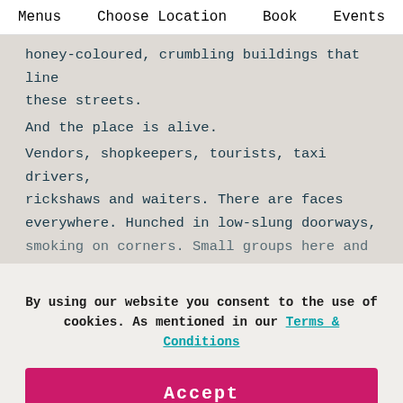Menus    Choose Location    Book    Events
honey-coloured, crumbling buildings that line these streets.

And the place is alive.

Vendors, shopkeepers, tourists, taxi drivers, rickshaws and waiters. There are faces everywhere. Hunched in low-slung doorways, smoking on corners. Small groups here and
By using our website you consent to the use of cookies. As mentioned in our Terms & Conditions
Accept